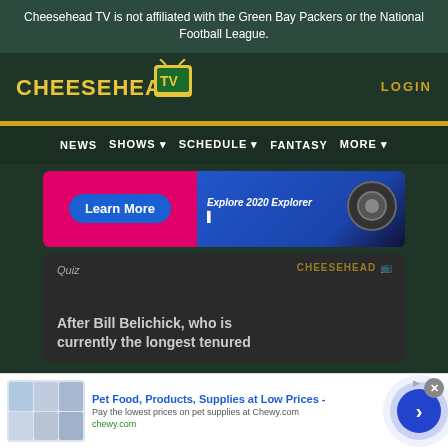Cheesehead TV is not affiliated with the Green Bay Packers or the National Football League.
[Figure (logo): Cheesehead TV logo with yellow text and TV icon]
LOGIN
[Figure (infographic): Advertisement banner: Learn More button on pink background, Explore 2020 Explorer text on blue background with car wheel]
[Figure (screenshot): Quiz card with text: Quiz / After Bill Belichick, who is currently the longest tenured]
[Figure (infographic): Bottom advertisement: Pet Food, Products, Supplies at Low Prices - Pay the lowest prices on pet supplies at Chewy.com, chewy.com, with close button and CTA arrow button]